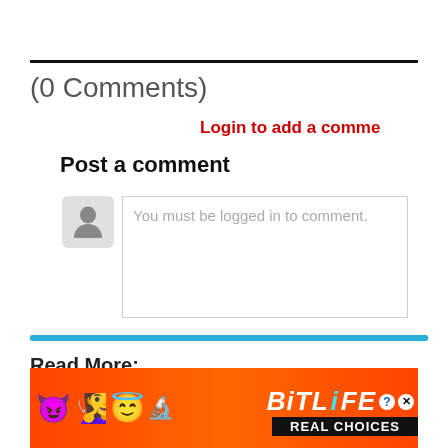(0 Comments)
Login to add a comme
Post a comment
You must be logged in to comment.
[Figure (other): Blue horizontal divider bar]
Read More:
Trying to Get Pregnant
Am I Pregnant?
Conception
Preconception Care
[Figure (illustration): BitLife Real Choices advertisement banner with emoji characters (devil, woman with arms raised, angel face, sperm), BitLife logo with question mark and close icons, and REAL CHOICES text on black background]